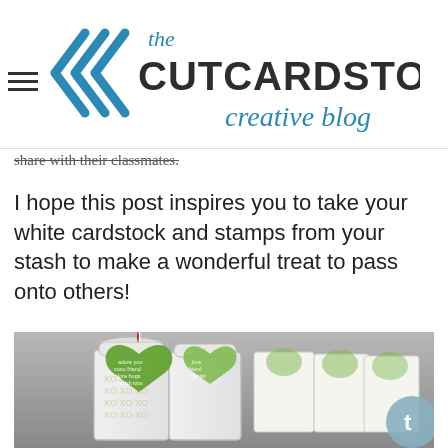the CutCardStock creative blog
share with their classmates.
I hope this post inspires you to take your white cardstock and stamps from your stash to make a wonderful treat to pass onto others!
[Figure (photo): Photo of white milk carton style treat boxes with green heart-shaped tags decorated with friendship/love words in white text, tied with red and white twine, arranged in a row on a gray background.]